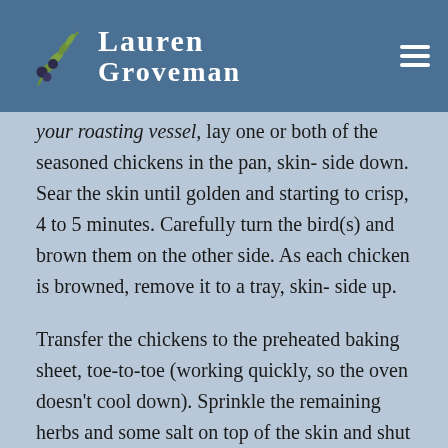Lauren Groveman
your roasting vessel, lay one or both of the seasoned chickens in the pan, skin- side down. Sear the skin until golden and starting to crisp, 4 to 5 minutes. Carefully turn the bird(s) and brown them on the other side. As each chicken is browned, remove it to a tray, skin- side up.
Transfer the chickens to the preheated baking sheet, toe-to-toe (working quickly, so the oven doesn't cool down). Sprinkle the remaining herbs and some salt on top of the skin and shut the oven door. Reduce the temperature to 375F and roast the